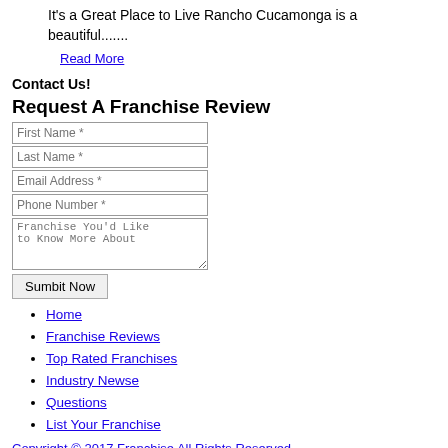It's a Great Place to Live Rancho Cucamonga is a beautiful.......
Read More
Contact Us!
Request A Franchise Review
First Name *
Last Name *
Email Address *
Phone Number *
Franchise You'd Like to Know More About
Sumbit Now
Home
Franchise Reviews
Top Rated Franchises
Industry Newse
Questions
List Your Franchise
Copyright © 2017 Franchise All Rights Reserved